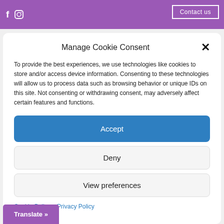f  [instagram icon]  Contact us
Manage Cookie Consent
To provide the best experiences, we use technologies like cookies to store and/or access device information. Consenting to these technologies will allow us to process data such as browsing behavior or unique IDs on this site. Not consenting or withdrawing consent, may adversely affect certain features and functions.
Accept
Deny
View preferences
Cookie Policy  Privacy Policy
Translate »